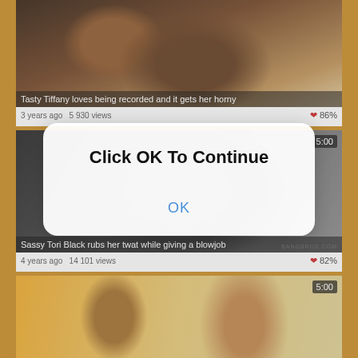[Figure (screenshot): Video thumbnail for 'Tasty Tiffany loves being recorded and it gets her horny']
Tasty Tiffany loves being recorded and it gets her horny
3 years ago  5 930 views  ❤ 86%
[Figure (screenshot): Video thumbnail for 'Sassy Tori Black rubs her twat while giving a blowjob', duration 5:00, BANGBROS.COM watermark]
Sassy Tori Black rubs her twat while giving a blowjob
4 years ago  14 101 views  ❤ 82%
[Figure (screenshot): Video thumbnail (partial), duration 5:00]
Click OK To Continue
OK